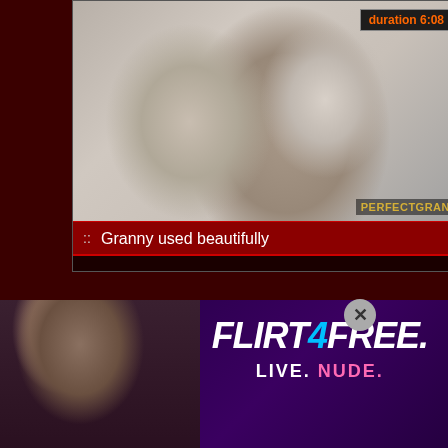[Figure (screenshot): Video thumbnail showing two people in close proximity, with PERFECTGRAN watermark. Duration badge shows 6:08.]
Granny used beautifully
[Figure (screenshot): Video thumbnail showing hands, duration badge shows 0:34.]
[Figure (advertisement): Flirt4Free advertisement with LIVE. NUDE. tagline and close button.]